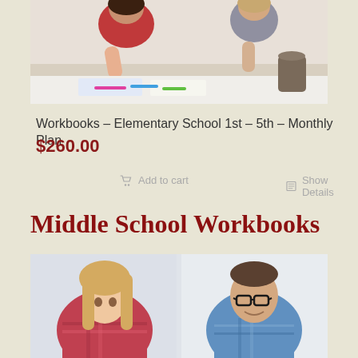[Figure (photo): Photo of children (a girl in red top and another child) drawing/writing at a table with colorful markers and notebooks]
Workbooks – Elementary School 1st – 5th – Monthly Plan
$260.00
Add to cart
Show Details
Middle School Workbooks
[Figure (photo): Photo of two students (a young woman with long blonde hair and a man with glasses) studying/working, appearing to be middle school or high school age]